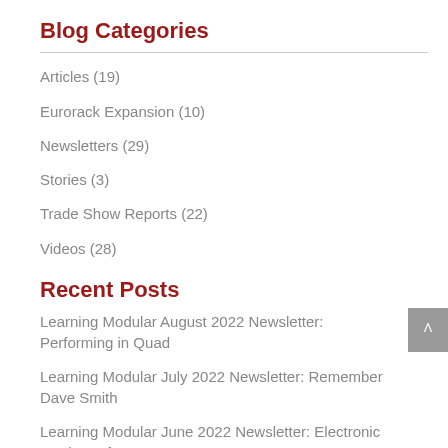Blog Categories
Articles (19)
Eurorack Expansion (10)
Newsletters (29)
Stories (3)
Trade Show Reports (22)
Videos (28)
Recent Posts
Learning Modular August 2022 Newsletter: Performing in Quad
Learning Modular July 2022 Newsletter: Remember Dave Smith
Learning Modular June 2022 Newsletter: Electronic Music Performance